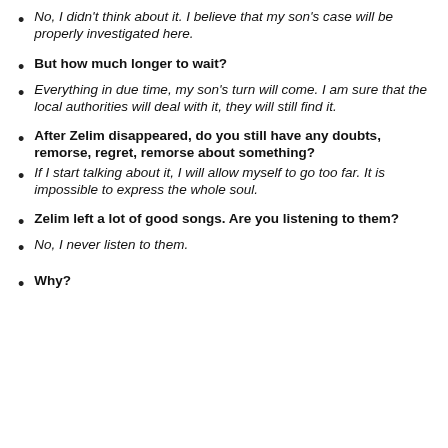No, I didn't think about it. I believe that my son's case will be properly investigated here.
But how much longer to wait?
Everything in due time, my son's turn will come. I am sure that the local authorities will deal with it, they will still find it.
After Zelim disappeared, do you still have any doubts, remorse, regret, remorse about something?
If I start talking about it, I will allow myself to go too far. It is impossible to express the whole soul.
Zelim left a lot of good songs. Are you listening to them?
No, I never listen to them.
Why?